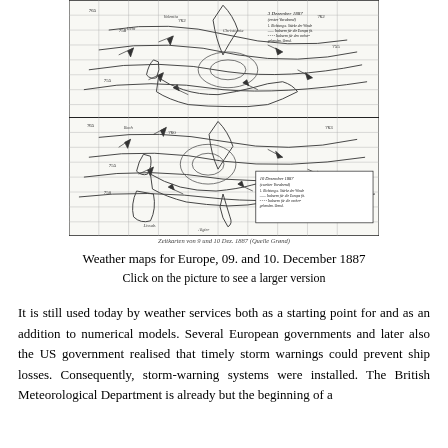[Figure (map): Two historical weather maps for Europe dated 9 and 10 December 1887, showing wind direction, isobars, and storm systems over the continent. Black and white engraved style maps with grid lines, coastlines, and meteorological annotations in German.]
Zeitkarten von 9 und 10 Dez. 1887 (uelle Grønd)
Weather maps for Europe, 09. and 10. December 1887
Click on the picture to see a larger version
It is still used today by weather services both as a starting point for and as an addition to numerical models. Several European governments and later also the US government realised that timely storm warnings could prevent ship losses. Consequently, storm-warning systems were installed. The British Meteorological Department is already but the beginning of a